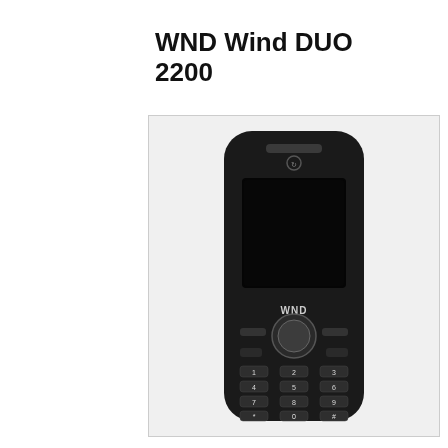WND Wind DUO 2200
[Figure (photo): Front-facing photo of the WND Wind DUO 2200 mobile phone, a black candybar-style handset with a dark screen, WND logo on the front face, a circular navigation key, and a full numeric keypad. The phone is displayed against a light grey background.]